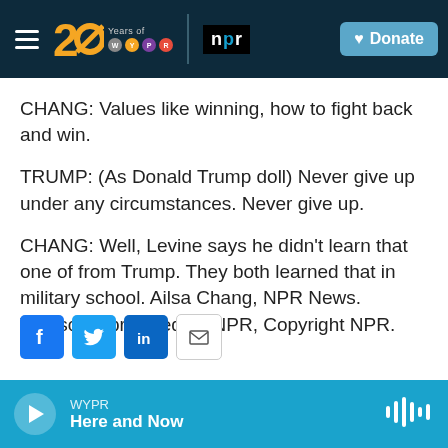[Figure (screenshot): WYPR 20 Years header bar with hamburger menu, WYPR logo, NPR logo, and Donate button on dark navy background]
CHANG: Values like winning, how to fight back and win.
TRUMP: (As Donald Trump doll) Never give up under any circumstances. Never give up.
CHANG: Well, Levine says he didn't learn that one of from Trump. They both learned that in military school. Ailsa Chang, NPR News. Transcript provided by NPR, Copyright NPR.
[Figure (screenshot): Social sharing icons: Facebook (blue), Twitter (blue), LinkedIn (blue), Email (white outlined)]
[Figure (screenshot): Audio player bar showing WYPR station and 'Here and Now' program with play button and waveform icon on teal background]